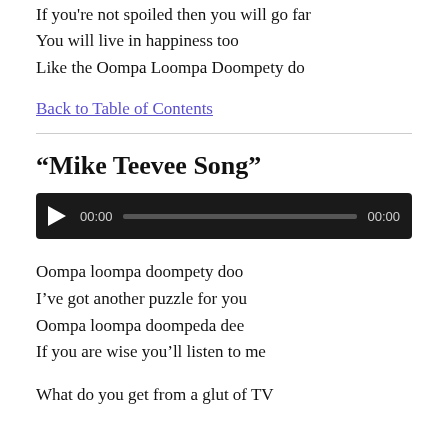If you're not spoiled then you will go far
You will live in happiness too
Like the Oompa Loompa Doompety do
Back to Table of Contents
“Mike Teevee Song”
[Figure (other): Audio player widget with play button, 00:00 start time, progress bar, and 00:00 end time on dark background]
Oompa loompa doompety doo
I’ve got another puzzle for you
Oompa loompa doompeda dee
If you are wise you’ll listen to me
What do you get from a glut of TV